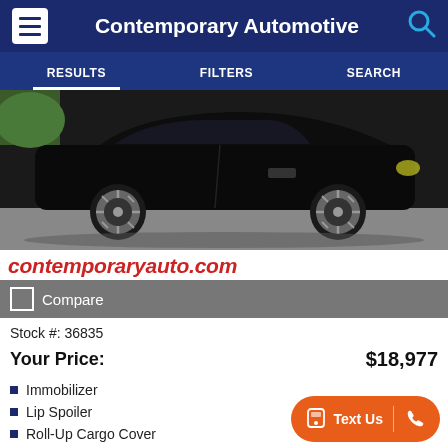Contemporary Automotive
RESULTS   FILTERS   SEARCH
[Figure (photo): Black SUV/crossover vehicle photographed from the side in a parking area, showing profile view with silver alloy wheels]
contemporaryauto.com
Compare
Stock #: 36835
Your Price: $18,977
Immobilizer
Lip Spoiler
Roll-Up Cargo Cover
Text Us